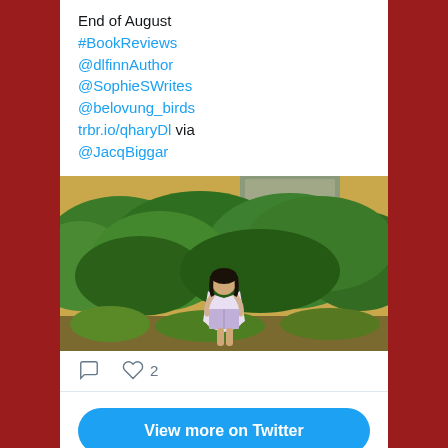End of August #BookReviews @dlfinnAuthor @SophieSWrites @belovung_birds trbr.io/qharyDl via @JacqBiggar
[Figure (photo): A person reading a book while standing in front of a green leafy hedge/bush wall with a yellow building in the background]
2 (likes)
View more on Twitter
Learn more about privacy on Twitter